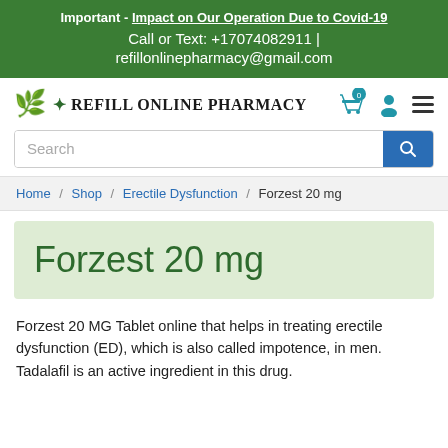Important - Impact on Our Operation Due to Covid-19
Call or Text: +17074082911 | refillonlinepharmacy@gmail.com
[Figure (logo): Refill Online Pharmacy logo with plant/leaf icon and text]
Search
Home / Shop / Erectile Dysfunction / Forzest 20 mg
Forzest 20 mg
Forzest 20 MG Tablet online that helps in treating erectile dysfunction (ED), which is also called impotence, in men. Tadalafil is an active ingredient in this drug.